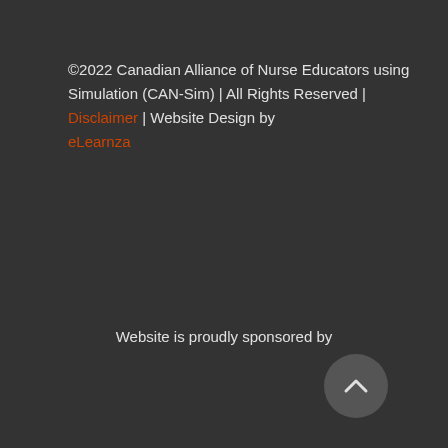©2022 Canadian Alliance of Nurse Educators using Simulation (CAN-Sim) | All Rights Reserved | Disclaimer | Website Design by eLearnza
Website is proudly sponsored by